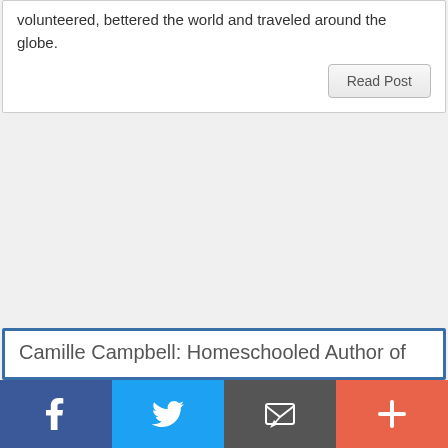volunteered, bettered the world and traveled around the globe.
Read Post
Camille Campbell: Homeschooled Author of
[Figure (other): Social share bar with Facebook, Twitter, Email, and plus/more buttons]